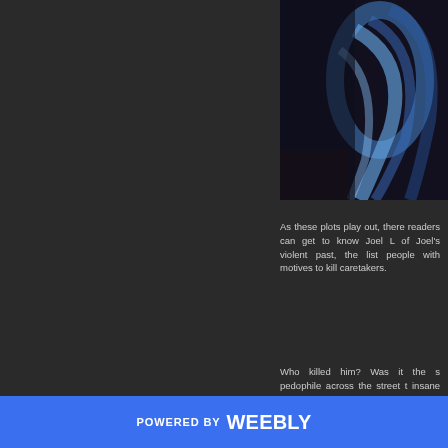[Figure (photo): Dark moody photo showing a blue-lit figure or fabric/clothing in near darkness]
As these plots play out, there readers can get to know Joel L of Joel's violent past, the list people with motives to kill caretakers.
Who killed him? Was it the s pedophile across the street t insane homeless man that terr
POWERED BY weebly